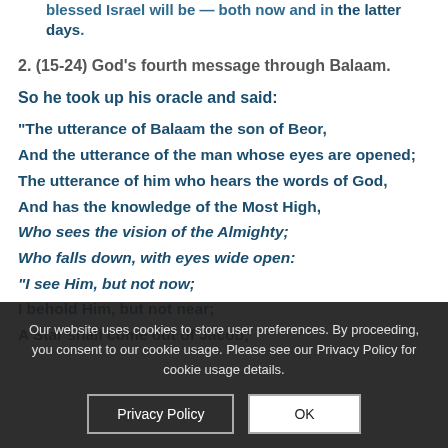blessed Israel will be — both now and in the latter days.
2. (15-24) God's fourth message through Balaam.
So he took up his oracle and said:
“The utterance of Balaam the son of Beor,
And the utterance of the man whose eyes are opened;
The utterance of him who hears the words of God,
And has the knowledge of the Most High,
Who sees the vision of the Almighty;
Who falls down, with eyes wide open:
“I see Him, but not now;
I behold Him, but not near;
A Star shall come out of Jacob;
Cookie notice: Our website uses cookies to store user preferences. By proceeding, you consent to our cookie usage. Please see our Privacy Policy for cookie usage details.